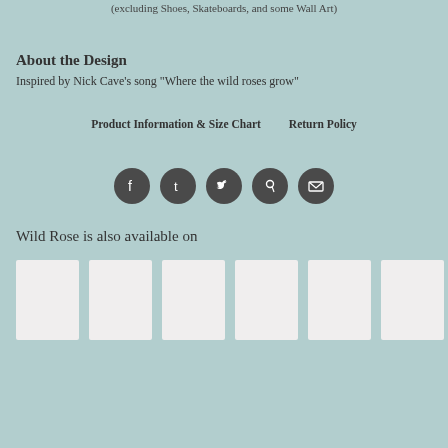(excluding Shoes, Skateboards, and some Wall Art)
About the Design
Inspired by Nick Cave's song "Where the wild roses grow"
Product Information & Size Chart   Return Policy
[Figure (infographic): Row of 5 social media icon circles: Facebook, Tumblr, Twitter, Pinterest, Email]
Wild Rose is also available on
[Figure (photo): Row of 6 product thumbnail images (white/light grey rectangles)]